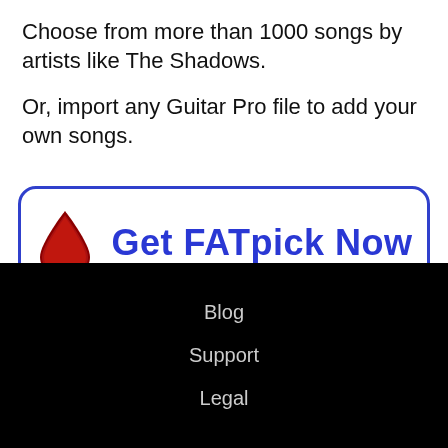Choose from more than 1000 songs by artists like The Shadows.
Or, import any Guitar Pro file to add your own songs.
[Figure (other): Call-to-action button with a red guitar pick drop icon and text 'Get FATpick Now' in bold blue, inside a rounded rectangle border]
Blog
Support
Legal